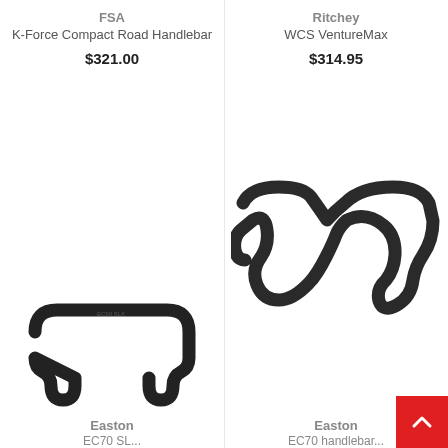FSA
K-Force Compact Road Handlebar
$321.00
Ritchey
WCS VentureMax
$314.95
[Figure (photo): Black Easton EC70 SL compact road handlebar viewed from front]
[Figure (photo): Black Easton EC70 drop road handlebar viewed from front at angle]
Easton
EC70 SL...
Easton
EC70 handlebar...